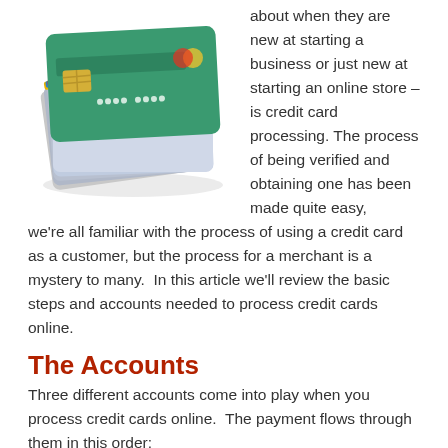[Figure (photo): A large stack of credit cards fanned out, photographed at an angle showing their edges and colorful designs.]
about when they are new at starting a business or just new at starting an online store – is credit card processing. The process of being verified and obtaining one has been made quite easy, we're all familiar with the process of using a credit card as a customer, but the process for a merchant is a mystery to many.  In this article we'll review the basic steps and accounts needed to process credit cards online.
The Accounts
Three different accounts come into play when you process credit cards online.  The payment flows through them in this order:
Gateway Account -> Merchant Account -> Bank Account
Bank Account
A bank account, usually a checking account, would be used for